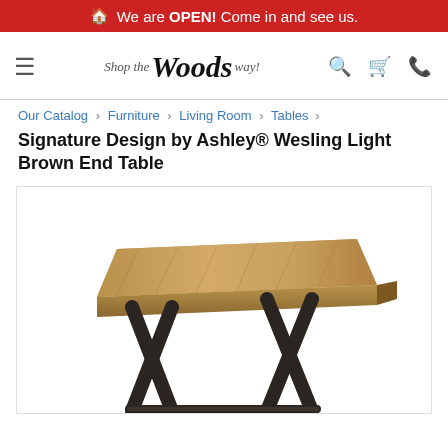🏠 We are OPEN! Come in and see us.
[Figure (logo): Shop the Woods way! logo with hamburger menu, search, cart, and phone icons]
Our Catalog › Furniture › Living Room › Tables ›
Signature Design by Ashley® Wesling Light Brown End Table
[Figure (photo): Photo of a light brown wooden end table with an X-shaped black metal base, showing rustic wood grain top surface]